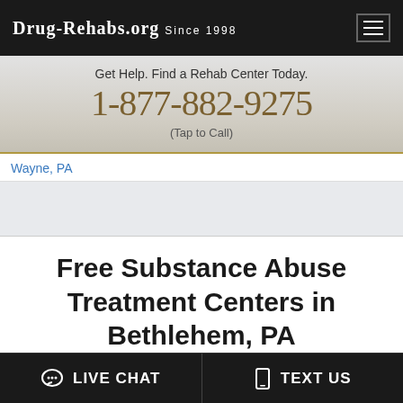Drug-Rehabs.org Since 1998
Get Help. Find a Rehab Center Today.
1-877-882-9275
(Tap to Call)
Wayne, PA
Free Substance Abuse Treatment Centers in Bethlehem, PA
In free drug and alcohol rehabilitation centers, you can find services that might otherwise have eluded those who cannot afford the cost of addiction treatment. These programs offer free meetings and treatment services as well as a safe
LIVE CHAT   TEXT US